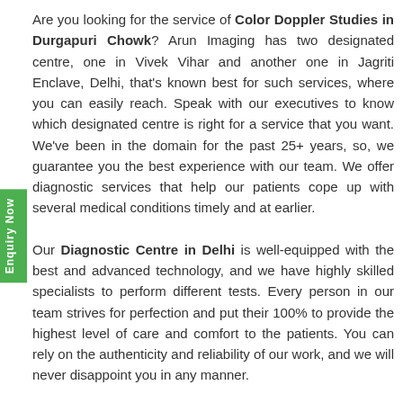Are you looking for the service of Color Doppler Studies in Durgapuri Chowk? Arun Imaging has two designated centre, one in Vivek Vihar and another one in Jagriti Enclave, Delhi, that's known best for such services, where you can easily reach. Speak with our executives to know which designated centre is right for a service that you want. We've been in the domain for the past 25+ years, so, we guarantee you the best experience with our team. We offer diagnostic services that help our patients cope up with several medical conditions timely and at earlier.

Our Diagnostic Centre in Delhi is well-equipped with the best and advanced technology, and we have highly skilled specialists to perform different tests. Every person in our team strives for perfection and put their 100% to provide the highest level of care and comfort to the patients. You can rely on the authenticity and reliability of our work, and we will never disappoint you in any manner.